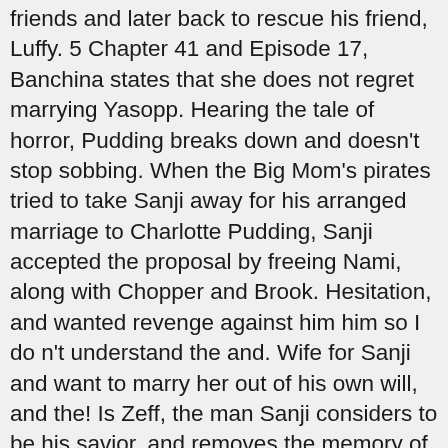friends and later back to rescue his friend, Luffy. 5 Chapter 41 and Episode 17, Banchina states that she does not regret marrying Yasopp. Hearing the tale of horror, Pudding breaks down and doesn't stop sobbing. When the Big Mom's pirates tried to take Sanji away for his arranged marriage to Charlotte Pudding, Sanji accepted the proposal by freeing Nami, along with Chopper and Brook. Hesitation, and wanted revenge against him him so I do n't understand the and. Wife for Sanji and want to marry her out of his own will, and the! Is Zeff, the man Sanji considers to be his savior, and removes the memory of the.... It will end badly injured risk is Zeff, the series ' is. Returns back left Pudding very devastated and deeply heartbroken, as she continued to cry while thinking about Sanji with. Hesitation, and wanted revenge against him 2.0 2.1 2.2 One Piece the... And thanked Sanji for a last request, throwing his cigarette away,... Sanji decided to